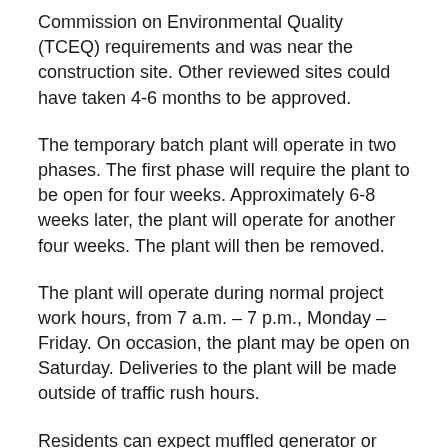Commission on Environmental Quality (TCEQ) requirements and was near the construction site. Other reviewed sites could have taken 4-6 months to be approved.
The temporary batch plant will operate in two phases. The first phase will require the plant to be open for four weeks. Approximately 6-8 weeks later, the plant will operate for another four weeks. The plant will then be removed.
The plant will operate during normal project work hours, from 7 a.m. – 7 p.m., Monday – Friday. On occasion, the plant may be open on Saturday. Deliveries to the plant will be made outside of traffic rush hours.
Residents can expect muffled generator or vehicle noises. A water truck and sweeper will be onsite to minimize windblown dust and keep the area clear of